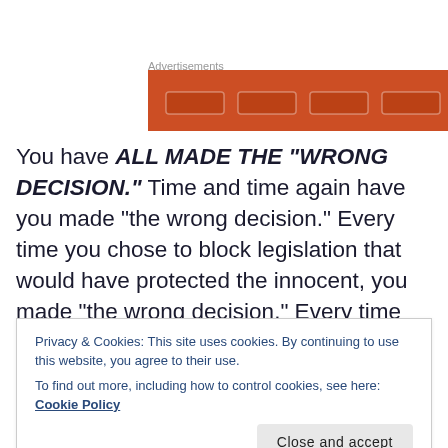Advertisements
[Figure (other): Orange advertisement banner]
You have ALL MADE THE “WRONG DECISION.” Time and time again have you made “the wrong decision.” Every time you chose to block legislation that would have protected the innocent, you made “the wrong decision.” Every time you chose to fund fracking instead of renewable energy, you made “the wrong
Privacy & Cookies: This site uses cookies. By continuing to use this website, you agree to their use.
To find out more, including how to control cookies, see here: Cookie Policy
decision.”  Every time you denied that the Holocaust